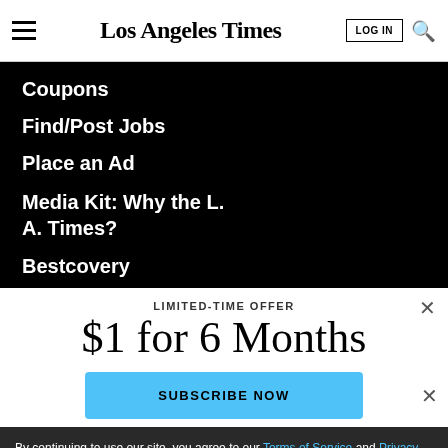Los Angeles Times | LOG IN
Coupons
Find/Post Jobs
Place an Ad
Media Kit: Why the L.A. Times?
Bestcovery
LIMITED-TIME OFFER
$1 for 6 Months
SUBSCRIBE NOW
By continuing to use our site, you agree to our Terms of Service and Privacy Policy. You can learn more about how we use cookies by reviewing our Privacy Policy. Close